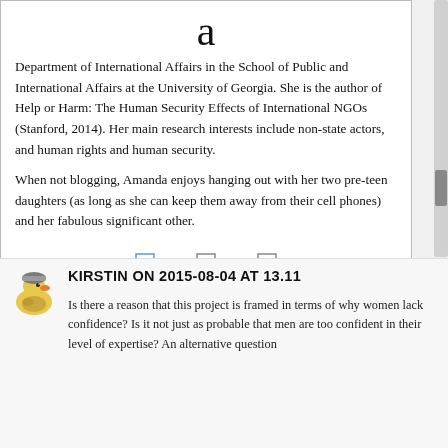[Figure (other): Large decorative letter 'a' at top center of bio card]
Department of International Affairs in the School of Public and International Affairs at the University of Georgia. She is the author of Help or Harm: The Human Security Effects of International NGOs (Stanford, 2014). Her main research interests include non-state actors, and human rights and human security.
When not blogging, Amanda enjoys hanging out with her two pre-teen daughters (as long as she can keep them away from their cell phones) and her fabulous significant other.
[Figure (other): Three small social media icon squares in blue]
[Figure (illustration): Duck avatar icon for commenter Kirstin]
KIRSTIN ON 2015-08-04 AT 13.11
Is there a reason that this project is framed in terms of why women lack confidence? Is it not just as probable that men are too confident in their level of expertise? An alternative question